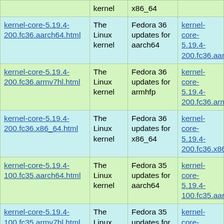| Name | Summary | Distribution | Changelog |
| --- | --- | --- | --- |
| kernel (truncated) | The Linux kernel | x86_64 | kernel-core-5.1… (truncated) |
| kernel-core-5.19.4-200.fc36.aarch64.html | The Linux kernel | Fedora 36 updates for aarch64 | kernel-core-5.19.4-200.fc36.aarch6… |
| kernel-core-5.19.4-200.fc36.armv7hl.html | The Linux kernel | Fedora 36 updates for armhfp | kernel-core-5.19.4-200.fc36.armv7… |
| kernel-core-5.19.4-200.fc36.x86_64.html | The Linux kernel | Fedora 36 updates for x86_64 | kernel-core-5.19.4-200.fc36.x86_6… |
| kernel-core-5.19.4-100.fc35.aarch64.html | The Linux kernel | Fedora 35 updates for aarch64 | kernel-core-5.19.4-100.fc35.aarch6… |
| kernel-core-5.19.4-100.fc35.armv7hl.html | The Linux kernel | Fedora 35 updates for armhfp | kernel-core-5.19.4-100.fc35.armv7… |
| kernel-core-5.19.4-100.fc35.x86_64.html | The Linux kernel | Fedora 35 updates for x86_64 | kernel-core-5.19.4-100.fc35.x86_6… |
| kernel-core-5.17.12-100.fc34.aarch64.html | The Linux kernel | Fedora 34 updates for aarch64 | kernel-core-5.17.12-100.fc34.aarch6… |
| kernel-core-5.17.12-… | The Linux kernel | Fedora 34 updates for … | kernel-core-5.17… |